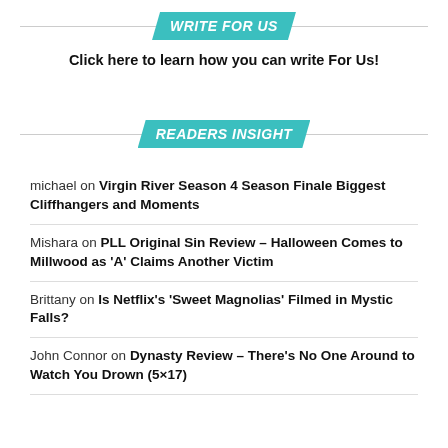WRITE FOR US
Click here to learn how you can write For Us!
READERS INSIGHT
michael on Virgin River Season 4 Season Finale Biggest Cliffhangers and Moments
Mishara on PLL Original Sin Review – Halloween Comes to Millwood as 'A' Claims Another Victim
Brittany on Is Netflix's 'Sweet Magnolias' Filmed in Mystic Falls?
John Connor on Dynasty Review – There's No One Around to Watch You Drown (5×17)